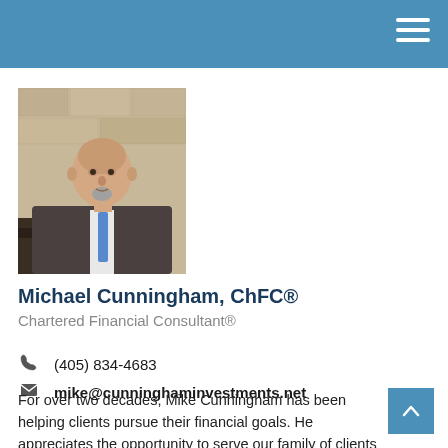[Figure (photo): Professional headshot of Michael Cunningham, a middle-aged bald man with a goatee, wearing a dark suit jacket and blue tie, photographed against a stone wall background.]
Michael Cunningham, ChFC®
Chartered Financial Consultant®
(405) 834-4683
mike@cunninghaminvestments.net
For over two decades, Mike Cunningham has been helping clients pursue their financial goals. He appreciates the opportunity to serve our family of clients